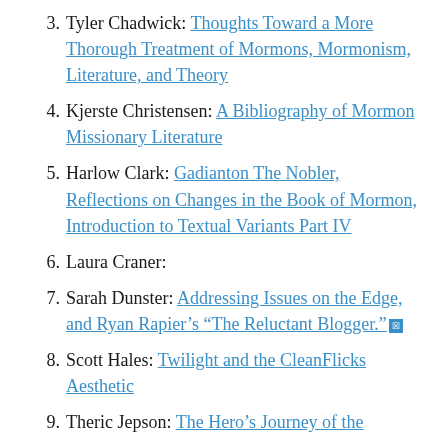3. Tyler Chadwick: Thoughts Toward a More Thorough Treatment of Mormons, Mormonism, Literature, and Theory
4. Kjerste Christensen: A Bibliography of Mormon Missionary Literature
5. Harlow Clark: Gadianton The Nobler, Reflections on Changes in the Book of Mormon, Introduction to Textual Variants Part IV
6. Laura Craner:
7. Sarah Dunster: Addressing Issues on the Edge, and Ryan Rapier’s “The Reluctant Blogger.”[broken link]
8. Scott Hales: Twilight and the CleanFlicks Aesthetic
9. Theric Jepson: The Hero’s Journey of the